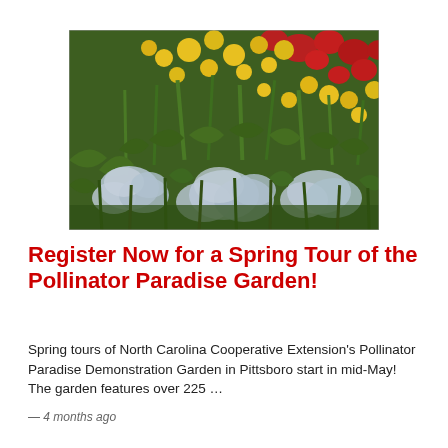[Figure (photo): Close-up photograph of a pollinator garden with yellow, red, and white/blue wildflowers and green foliage]
Register Now for a Spring Tour of the Pollinator Paradise Garden!
Spring tours of North Carolina Cooperative Extension's Pollinator Paradise Demonstration Garden in Pittsboro start in mid-May! The garden features over 225 …
— 4 months ago